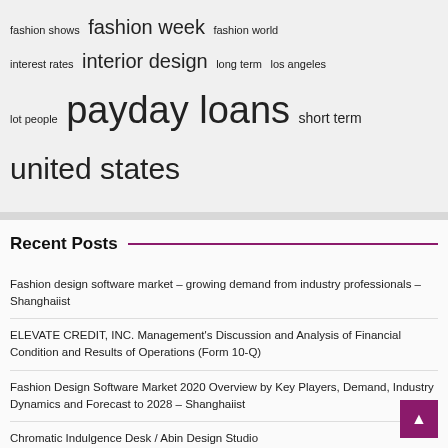fashion shows  fashion week  fashion world  interest rates  interior design  long term  los angeles  lot people  payday loans  short term  united states
Recent Posts
Fashion design software market – growing demand from industry professionals – Shanghaiist
ELEVATE CREDIT, INC. Management's Discussion and Analysis of Financial Condition and Results of Operations (Form 10-Q)
Fashion Design Software Market 2020 Overview by Key Players, Demand, Industry Dynamics and Forecast to 2028 – Shanghaiist
Chromatic Indulgence Desk / Abin Design Studio